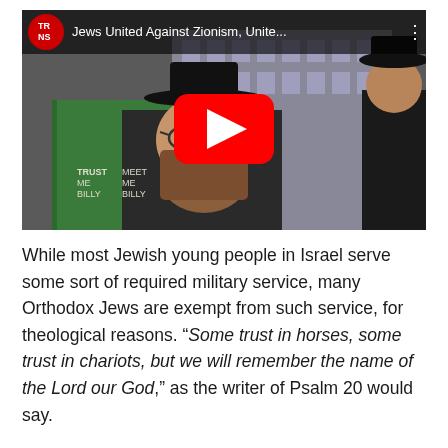[Figure (screenshot): YouTube video thumbnail showing a bearded Orthodox Jewish man wearing a black hat, with a YouTube play button overlay. The video bar at top shows the TRNS logo and title 'Jews United Against Zionism, Unite...']
While most Jewish young people in Israel serve some sort of required military service, many Orthodox Jews are exempt from such service, for theological reasons. "Some trust in horses, some trust in chariots, but we will remember the name of the Lord our God," as the writer of Psalm 20 would say.